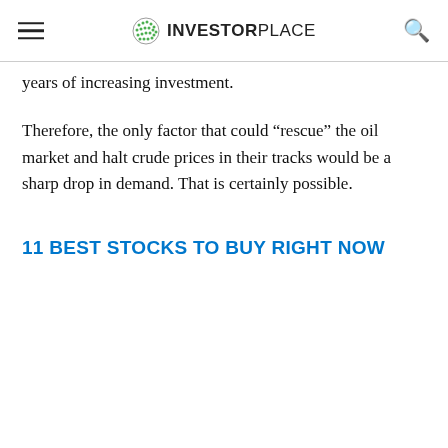InvestorPlace
years of increasing investment.
Therefore, the only factor that could “rescue” the oil market and halt crude prices in their tracks would be a sharp drop in demand. That is certainly possible.
11 BEST STOCKS TO BUY RIGHT NOW